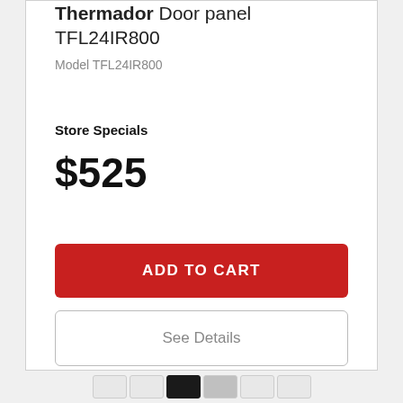Thermador Door panel TFL24IR800
Model TFL24IR800
Store Specials
$525
ADD TO CART
See Details